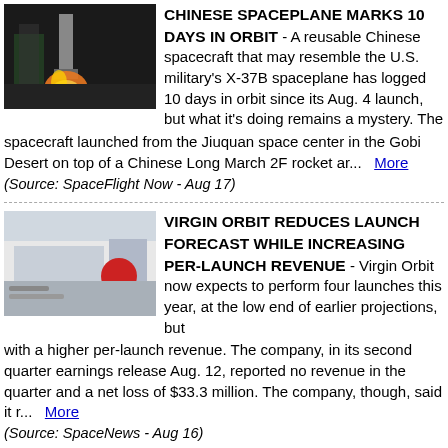[Figure (photo): Rocket launch at night with bright flame exhaust]
CHINESE SPACEPLANE MARKS 10 DAYS IN ORBIT - A reusable Chinese spacecraft that may resemble the U.S. military's X-37B spaceplane has logged 10 days in orbit since its Aug. 4 launch, but what it's doing remains a mystery. The spacecraft launched from the Jiuquan space center in the Gobi Desert on top of a Chinese Long March 2F rocket ar...  More (Source: SpaceFlight Now - Aug 17)
[Figure (photo): Virgin Orbit aircraft and launch vehicle on tarmac]
VIRGIN ORBIT REDUCES LAUNCH FORECAST WHILE INCREASING PER-LAUNCH REVENUE - Virgin Orbit now expects to perform four launches this year, at the low end of earlier projections, but with a higher per-launch revenue. The company, in its second quarter earnings release Aug. 12, reported no revenue in the quarter and a net loss of $33.3 million. The company, though, said it r...  More (Source: SpaceNews - Aug 16)
[Figure (photo): People at a table displaying a model of a space station]
RUSSIA, PLANNING TO GO IT ALONE, UNVEILS MODEL OF NEW SPACE STATION - Russia's space agency on Monday unveiled for the first time a physical model of what a planned new Russian-built space station will look like, suggesting Moscow is serious about abandoning the International Space Station (ISS) and going it alone. Russia, in the throes of what